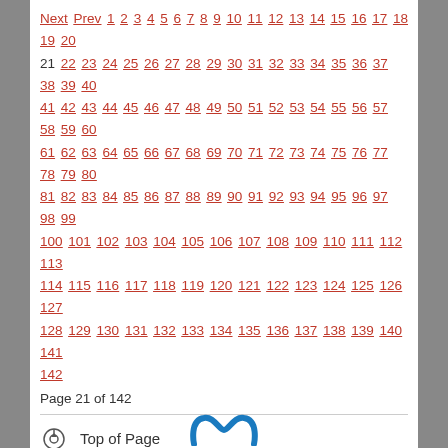Next Prev 1 2 3 4 5 6 7 8 9 10 11 12 13 14 15 16 17 18 19 20 21 22 23 24 25 26 27 28 29 30 31 32 33 34 35 36 37 38 39 40 41 42 43 44 45 46 47 48 49 50 51 52 53 54 55 56 57 58 59 60 61 62 63 64 65 66 67 68 69 70 71 72 73 74 75 76 77 78 79 80 81 82 83 84 85 86 87 88 89 90 91 92 93 94 95 96 97 98 99 100 101 102 103 104 105 106 107 108 109 110 111 112 113 114 115 116 117 118 119 120 121 122 123 124 125 126 127 128 129 130 131 132 133 134 135 136 137 138 139 140 141 142
Page 21 of 142
Top of Page
Login
Email Page
Print this page
[Figure (logo): Partial logo visible at bottom of page, blue stylized letter M]